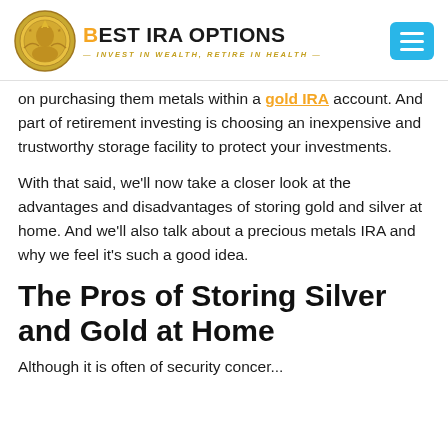BEST IRA OPTIONS — INVEST IN WEALTH, RETIRE IN HEALTH
on purchasing them metals within a gold IRA account. And part of retirement investing is choosing an inexpensive and trustworthy storage facility to protect your investments.
With that said, we'll now take a closer look at the advantages and disadvantages of storing gold and silver at home. And we'll also talk about a precious metals IRA and why we feel it's such a good idea.
The Pros of Storing Silver and Gold at Home
Although it is often of security concer...